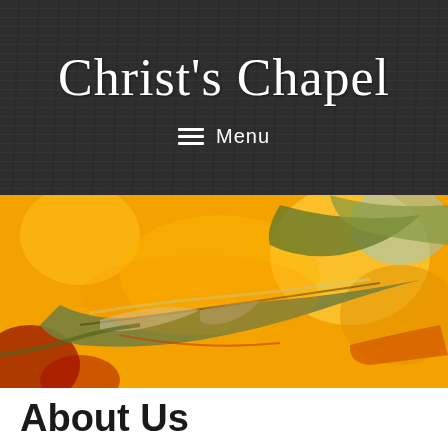Christ's Chapel
Menu
[Figure (photo): Close-up photo of autumn leaves with yellow, green, and red tones against a bright yellow background]
About Us